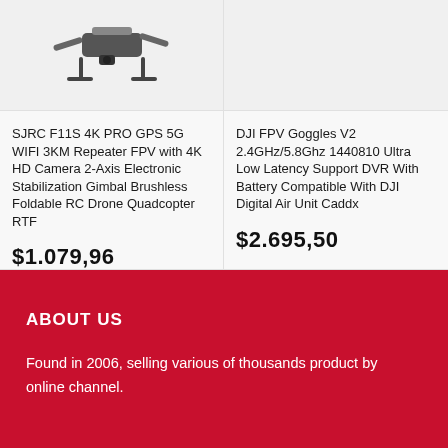[Figure (photo): SJRC F11S drone product image showing drone with landing gear and folded configuration]
SJRC F11S 4K PRO GPS 5G WIFI 3KM Repeater FPV with 4K HD Camera 2-Axis Electronic Stabilization Gimbal Brushless Foldable RC Drone Quadcopter RTF
$1.079,96
[Figure (photo): DJI FPV Goggles V2 product image area (empty/missing)]
DJI FPV Goggles V2 2.4GHz/5.8Ghz 1440810 Ultra Low Latency Support DVR With Battery Compatible With DJI Digital Air Unit Caddx
$2.695,50
ABOUT US
Found in 2006, selling various of thousands product by online channel.